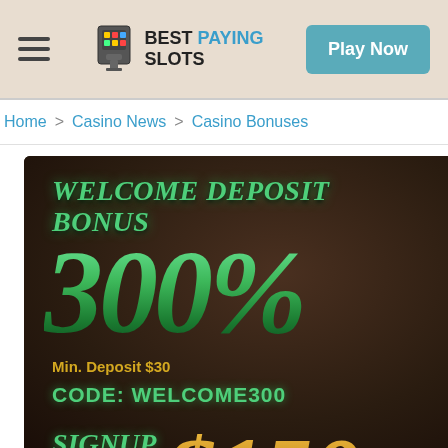BEST PAYING SLOTS | Play Now
Home > Casino News > Casino Bonuses
[Figure (infographic): Casino promotional banner showing Welcome Deposit Bonus 300%, Min. Deposit $30, CODE: WELCOME300, SIGNUP BONUS $150 on dark brown background with green and gold text]